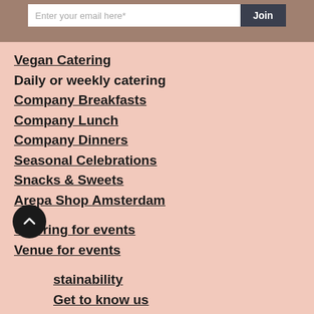[Figure (screenshot): Email signup bar with input field 'Enter your email here*' and 'Join' button on a taupe/brown background]
Vegan Catering
Daily or weekly catering
Company Breakfasts
Company Lunch
Company Dinners
Seasonal Celebrations
Snacks & Sweets
Arepa Shop Amsterdam
Catering for events
Venue for events
Sustainability
Get to know us
Our customers
Blog
Subscribe to newsletter
Covid-19 handling